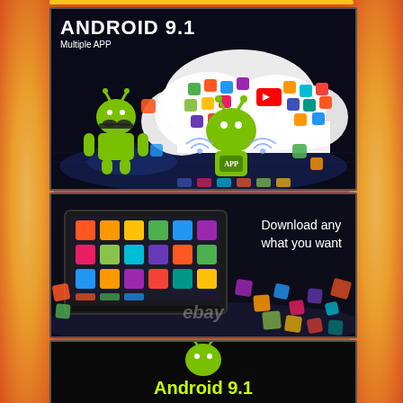[Figure (illustration): Android 9.1 promotional image showing cloud with multiple app icons floating above Android mascot, with text 'ANDROID 9.1' and 'Multiple APP' on dark background]
[Figure (photo): Car stereo Android tablet showing colorful app grid on screen, with scattered app icons around it and text 'Download any what you want' and 'ebay' watermark on dark background]
[Figure (illustration): Android logo (green robot) above text 'Android 9.1' in yellow-green color on dark background]